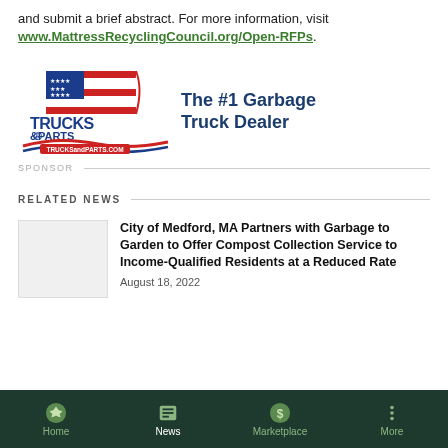and submit a brief abstract. For more information, visit www.MattressRecyclingCouncil.org/Open-RFPs.
[Figure (logo): Trucks & Parts advertisement banner — logo on left with American flag design and 'TRUCKS & PARTS' text and 'TRUCKSandPARTS.COM' URL, tagline on right reads 'The #1 Garbage Truck Dealer']
SPONSOR
RELATED NEWS
City of Medford, MA Partners with Garbage to Garden to Offer Compost Collection Service to Income-Qualified Residents at a Reduced Rate
August 18, 2022
Home  News  Marketplace  More